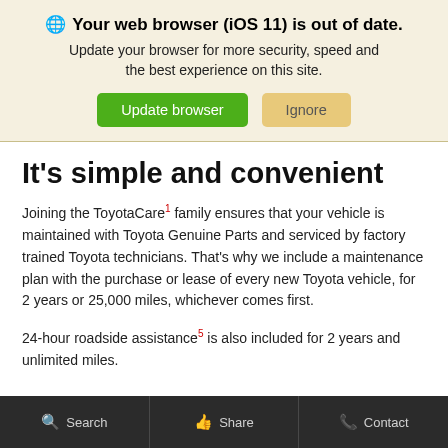🌐 Your web browser (iOS 11) is out of date. Update your browser for more security, speed and the best experience on this site.
It's simple and convenient
Joining the ToyotaCare¹ family ensures that your vehicle is maintained with Toyota Genuine Parts and serviced by factory trained Toyota technicians. That's why we include a maintenance plan with the purchase or lease of every new Toyota vehicle, for 2 years or 25,000 miles, whichever comes first.
24-hour roadside assistance⁵ is also included for 2 years and unlimited miles.
Search  Share  Contact